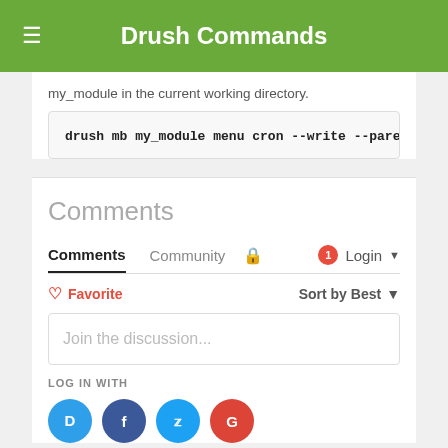Drush Commands
my_module in the current working directory.
drush mb my_module menu cron --write --paren
Comments
Comments  Community  🔒  1  Login ▾
♡ Favorite    Sort by Best ▾
Join the discussion...
LOG IN WITH
[Figure (logo): Social login icons: Disqus (blue), Facebook (dark blue), Twitter (light blue), Google (red)]